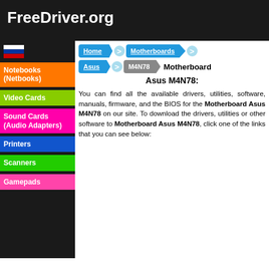FreeDriver.org
Notebooks (Netbooks)
Video Cards
Sound Cards (Audio Adapters)
Printers
Scanners
Gamepads
Drivers and BIOS for the Motherboard Asus M4N78:
You can find all the available drivers, utilities, software, manuals, firmware, and the BIOS for the Motherboard Asus M4N78 on our site. To download the drivers, utilities or other software to Motherboard Asus M4N78, click one of the links that you can see below: